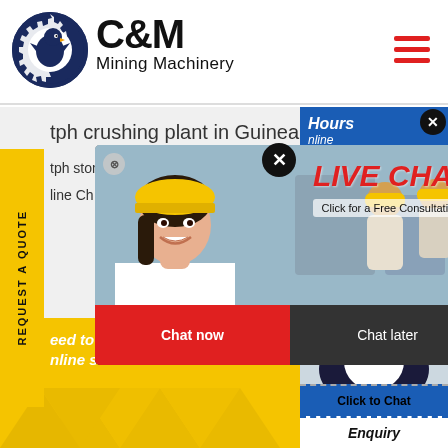[Figure (logo): C&M Mining Machinery logo with eagle in gear circle, dark navy blue]
C&M Mining Machinery
tph crushing plant in Guinea
tph stone
line Ch
eed to contact a specific nline service?
[Figure (screenshot): Live Chat popup overlay showing workers in hard hats, a female agent smiling, LIVE CHAT text in red, Click for a Free Consultation, Chat now and Chat later buttons. Right side shows online customer service agent with headset, Click to Chat button, and Enquiry label. Yellow REQUEST A QUOTE tab on left side.]